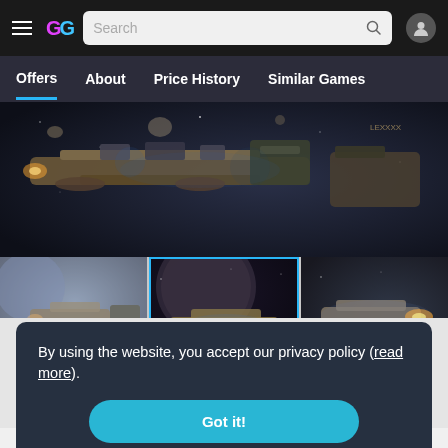GG — Search bar — User icon
Offers  About  Price History  Similar Games
[Figure (screenshot): Main screenshot of a space game showing a large spacecraft in a dark space environment]
[Figure (screenshot): Three thumbnail screenshots of the space game: left shows spacecraft near a planet, center (active/selected) shows a spacecraft in space, right shows a spacecraft firing]
By using the website, you accept our privacy policy (read more).
Got it!
Developer / Publisher